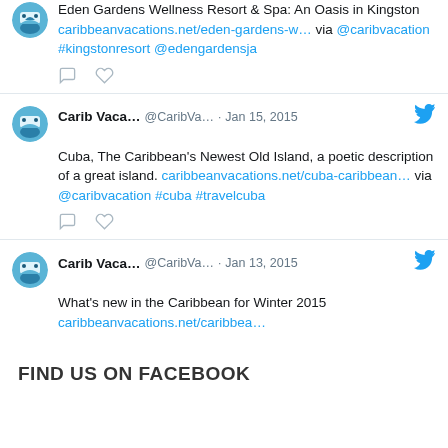Eden Gardens Wellness Resort & Spa: An Oasis in Kingston caribbeanvacations.net/eden-gardens-w… via @caribvacation #kingstonresort @edengardensja
[Figure (other): Comment and like icons for tweet actions]
Carib Vaca… @CaribVa… · Jan 15, 2015
Cuba, The Caribbean's Newest Old Island, a poetic description of a great island.
caribbeanvacations.net/cuba-caribbean… via @caribvacation #cuba #travelcuba
[Figure (other): Comment and like icons for tweet actions]
Carib Vaca… @CaribVa… · Jan 13, 2015
What's new in the Caribbean for Winter 2015
FIND US ON FACEBOOK